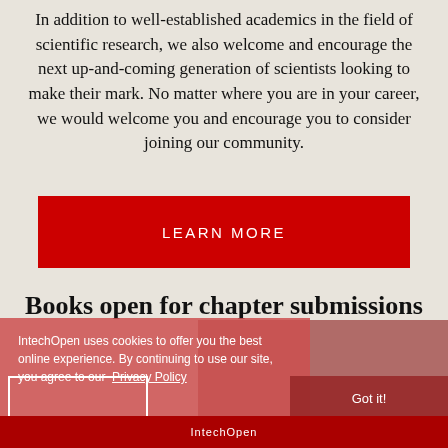In addition to well-established academics in the field of scientific research, we also welcome and encourage the next up-and-coming generation of scientists looking to make their mark. No matter where you are in your career, we would welcome you and encourage you to consider joining our community.
[Figure (other): Red 'LEARN MORE' button]
Books open for chapter submissions
IntechOpen uses cookies to offer you the best online experience. By continuing to use our site, you agree to our Privacy Policy
Got it!
IntechOpen